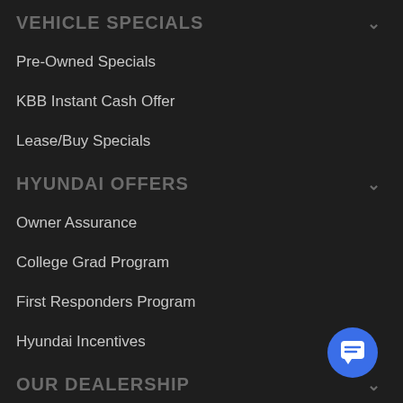VEHICLE SPECIALS
Pre-Owned Specials
KBB Instant Cash Offer
Lease/Buy Specials
HYUNDAI OFFERS
Owner Assurance
College Grad Program
First Responders Program
Hyundai Incentives
OUR DEALERSHIP
About Us
Why Buy from Pacifico?
[Figure (illustration): Blue circular chat button with message icon in bottom right corner]